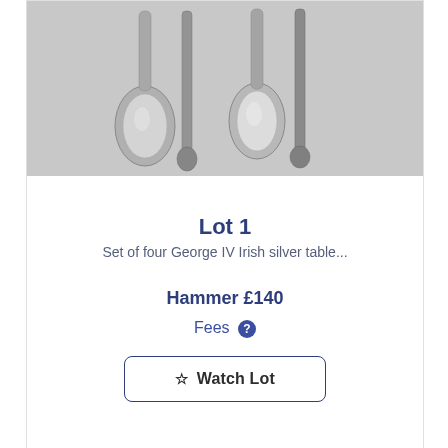[Figure (photo): Four silver spoons displayed vertically against a grey background — two large table spoons and two smaller spoons, showing fiddle pattern handles.]
Lot 1
Set of four George IV Irish silver table...
Hammer £140
Fees ?
☆ Watch Lot